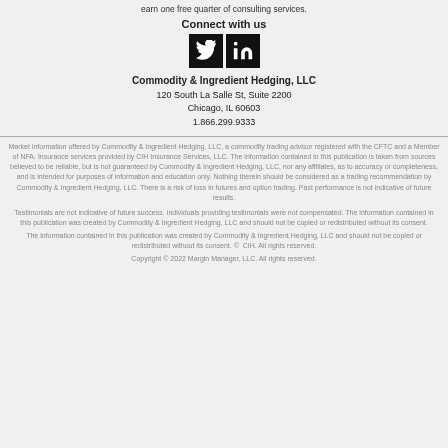earn one free quarter of consulting services.
Connect with us
[Figure (illustration): Twitter and LinkedIn social media icons (black square backgrounds with white logos)]
Commodity & Ingredient Hedging, LLC
120 South La Salle St, Suite 2200
Chicago, IL 60603
1.866.299.9333
Market information offered by Commodity & Ingredient Hedging, LLC, a commodity trading advisor registered with the CFTC and a Member of NFA. Insurance services provided by CIH Insurance Services, LLC. The information contained in this publication is taken from sources believed to be reliable, but is not guaranteed by Commodity & Ingredient Hedging, LLC, nor any affiliates, as to accuracy or completeness, and is intended for purposes of information and education only. Nothing therein should be considered as a trading recommendation by Commodity & Ingredient Hedging, LLC. There is a risk of loss in futures and option trading. Past performance is not indicative of future results.
Testimonials are not indicative of future success. Individuals providing testimonials were not compensated. The information contained in this publication was created by Commodity & Ingredient Hedging, LLC and should not be copied or redistributed without its consent.
The information contained in this publication was created by Commodity & Ingredient Hedging, LLC and should not be copied or redistributed without its consent. © CIH. All rights reserved.
Copyright © 2022 Margin Manager, LLC. All rights reserved.